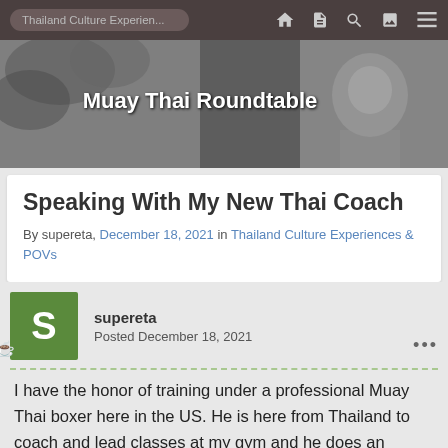Thailand Culture Experien...
[Figure (photo): Black and white hero banner image with an elderly Thai man, overlaid with text 'Muay Thai Roundtable']
Speaking With My New Thai Coach
By supereta, December 18, 2021 in Thailand Culture Experiences & POVs
supereta
Posted December 18, 2021
I have the honor of training under a professional Muay Thai boxer here in the US. He is here from Thailand to coach and lead classes at my gym and he does an amazing job.  He is an awesome coach but does not speak a word of English. Despite this, he communicates very well through body language, demonstration,